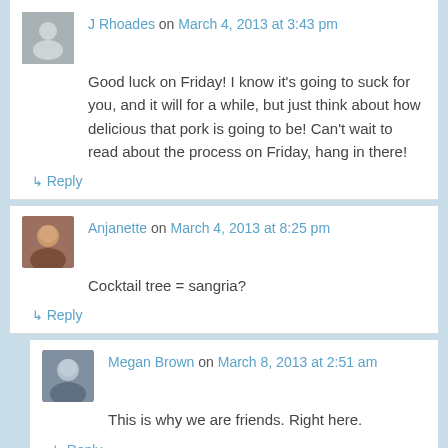J Rhoades on March 4, 2013 at 3:43 pm
Good luck on Friday! I know it's going to suck for you, and it will for a while, but just think about how delicious that pork is going to be! Can't wait to read about the process on Friday, hang in there!
↳ Reply
Anjanette on March 4, 2013 at 8:25 pm
Cocktail tree = sangria?
↳ Reply
Megan Brown on March 8, 2013 at 2:51 am
This is why we are friends. Right here.
↳ Reply